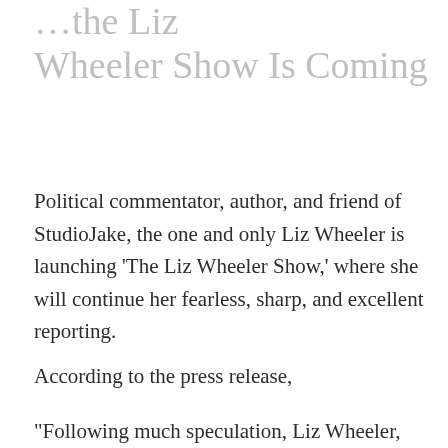...the Liz Wheeler Show Is Coming
Political commentator, author, and friend of StudioJake, the one and only Liz Wheeler is launching ‘The Liz Wheeler Show,’ where she will continue her fearless, sharp, and excellent reporting.
According to the press release,
“Following much speculation, Liz Wheeler, one of the conservative movement’s boldest voices